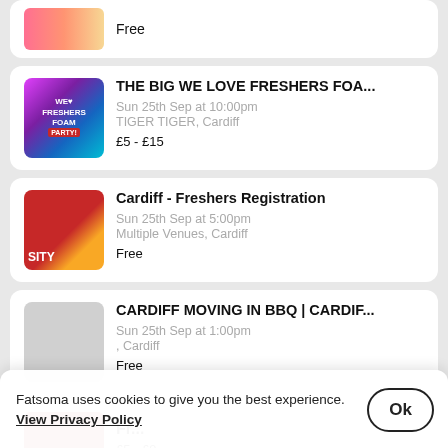Free
THE BIG WE LOVE FRESHERS FOA...
Sun 25th Sep at 10:00pm
TIGER TIGER, Cardiff
£5 - £15
Cardiff - Freshers Registration
Sun 25th Sep at 5:00pm
Multiple Venues, Cardiff
Free
CARDIFF MOVING IN BBQ | CARDIF...
Sun 25th Sep at 1:00pm
, Cardiff
Free
Fatsoma uses cookies to give you the best experience. View Privacy Policy
Fr...
£5 - £9